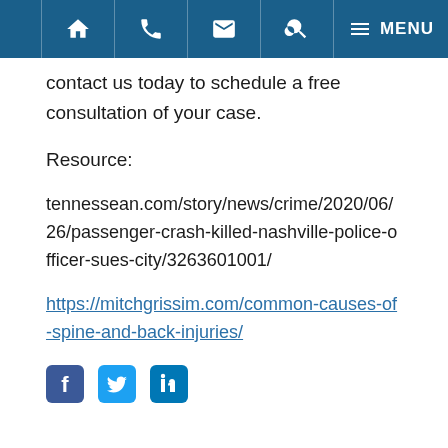Navigation bar with home, phone, email, search, and menu icons
contact us today to schedule a free consultation of your case.
Resource:
tennessean.com/story/news/crime/2020/06/26/passenger-crash-killed-nashville-police-officer-sues-city/3263601001/
https://mitchgrissim.com/common-causes-of-spine-and-back-injuries/
[Figure (other): Social media share icons: Facebook, Twitter, LinkedIn]